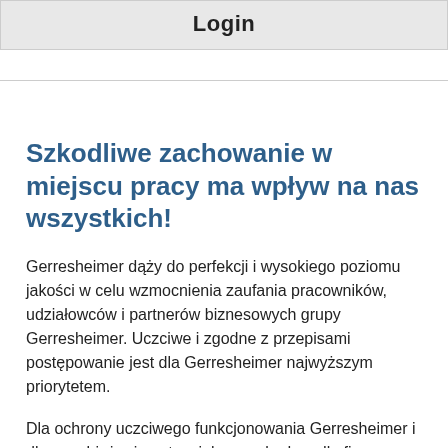Login
Szkodliwe zachowanie w miejscu pracy ma wpływ na nas wszystkich!
Gerresheimer dąży do perfekcji i wysokiego poziomu jakości w celu wzmocnienia zaufania pracowników, udziałowców i partnerów biznesowych grupy Gerresheimer. Uczciwe i zgodne z przepisami postępowanie jest dla Gerresheimer najwyższym priorytetem.
Dla ochrony uczciwego funkcjonowania Gerresheimer i dla zapobieżenia potencjalnym szkodom dla firmy, Gerresheimer jest zainteresowany powzięciem wiadomości o naruszeniach zasad zgodności. O ile to możliwe, swoje obserwacje należy w pierwszej